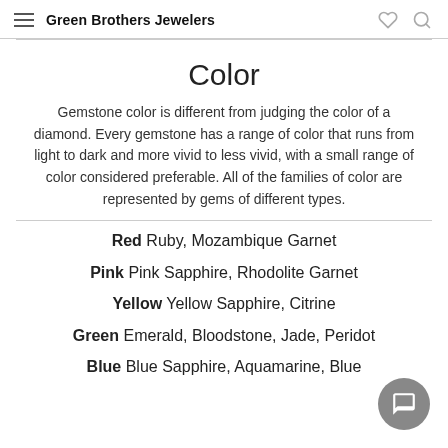Green Brothers Jewelers
Color
Gemstone color is different from judging the color of a diamond. Every gemstone has a range of color that runs from light to dark and more vivid to less vivid, with a small range of color considered preferable. All of the families of color are represented by gems of different types.
Red Ruby, Mozambique Garnet
Pink Pink Sapphire, Rhodolite Garnet
Yellow Yellow Sapphire, Citrine
Green Emerald, Bloodstone, Jade, Peridot
Blue Blue Sapphire, Aquamarine, Blue